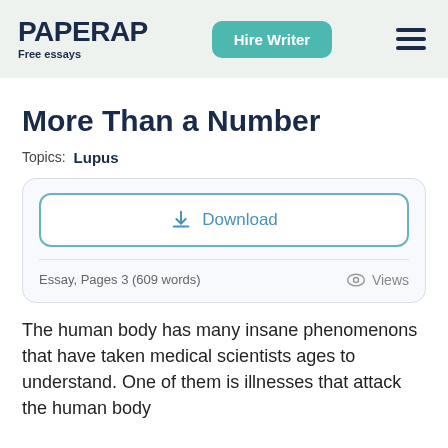PAPERAP Free essays | Hire Writer
More Than a Number
Topics: Lupus
Download
Essay, Pages 3 (609 words) Views
The human body has many insane phenomenons that have taken medical scientists ages to understand. One of them is illnesses that attack the human body